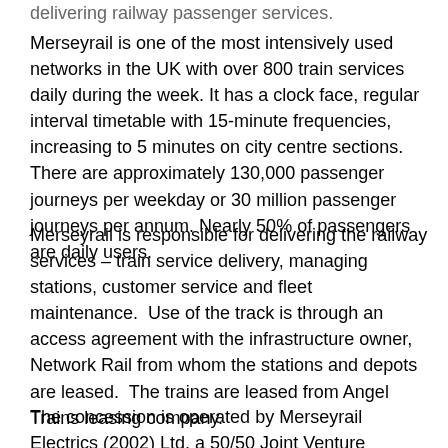delivering railway passenger services.
Merseyrail is one of the most intensively used networks in the UK with over 800 train services daily during the week. It has a clock face, regular interval timetable with 15-minute frequencies, increasing to 5 minutes on city centre sections. There are approximately 130,000 passenger journeys per weekday or 30 million passenger journeys per annum. Nearly 50% of passengers are daily users.
Merseyrail is responsible for delivering the railway services – train service delivery, managing stations, customer service and fleet maintenance.  Use of the track is through an access agreement with the infrastructure owner, Network Rail from whom the stations and depots are leased.  The trains are leased from Angel Trains leasing company.
The concession is operated by Merseyrail Electrics (2002) Ltd, a 50/50 Joint Venture company between Serco and